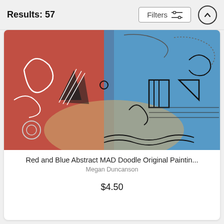Results: 57
[Figure (illustration): Abstract painting with red, blue, and beige swirling patterns, geometric shapes, and MAD Doodle style artwork by Megan Duncanson]
Red and Blue Abstract MAD Doodle Original Paintin...
Megan Duncanson
$4.50